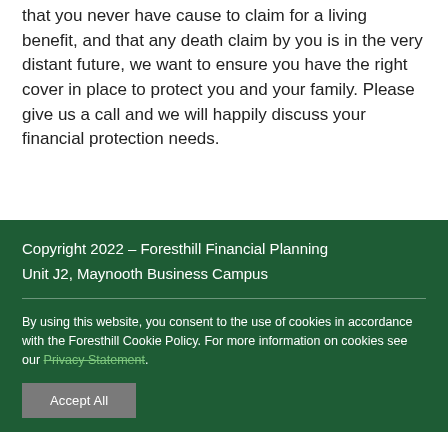that you never have cause to claim for a living benefit, and that any death claim by you is in the very distant future, we want to ensure you have the right cover in place to protect you and your family. Please give us a call and we will happily discuss your financial protection needs.
Copyright 2022 – Foresthill Financial Planning
Unit J2, Maynooth Business Campus
By using this website, you consent to the use of cookies in accordance with the Foresthill Cookie Policy. For more information on cookies see our Privacy Statement.
Accept All